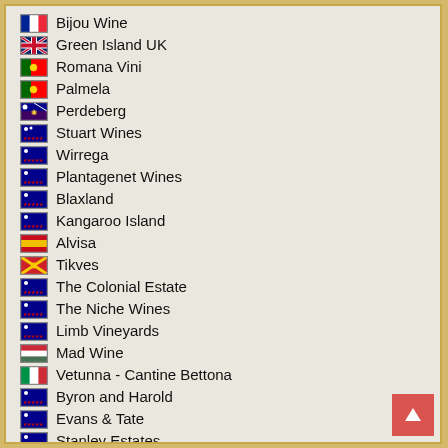Bijou Wine
Green Island UK
Romana Vini
Palmela
Perdeberg
Stuart Wines
Wirrega
Plantagenet Wines
Blaxland
Kangaroo Island
Alvisa
Tikves
The Colonial Estate
The Niche Wines
Limb Vineyards
Mad Wine
Vetunna - Cantine Bettona
Byron and Harold
Evans & Tate
Stanley Estates